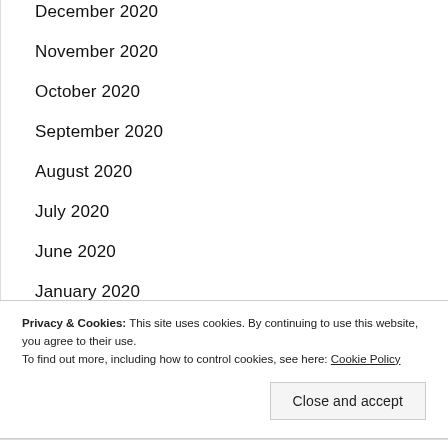December 2020
November 2020
October 2020
September 2020
August 2020
July 2020
June 2020
January 2020
November 2019
Privacy & Cookies: This site uses cookies. By continuing to use this website, you agree to their use. To find out more, including how to control cookies, see here: Cookie Policy
Close and accept